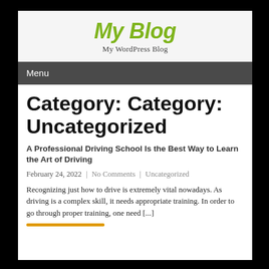My Blog
My WordPress Blog
Menu
Category: Category: Uncategorized
A Professional Driving School Is the Best Way to Learn the Art of Driving
February 24, 2022 | No Comments | Uncategorized
Recognizing just how to drive is extremely vital nowadays. As driving is a complex skill, it needs appropriate training. In order to go through proper training, one need [...]